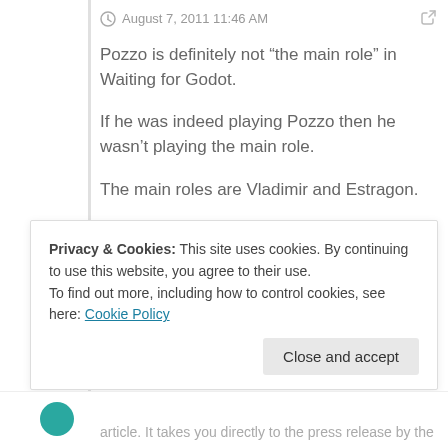August 7, 2011 11:46 AM
Pozzo is definitely not “the main role” in Waiting for Godot.
If he was indeed playing Pozzo then he wasn’t playing the main role.
The main roles are Vladimir and Estragon.
Anyone who has read or seen the play knows that.
Perhaps a bad translation?
0  Reply
Privacy & Cookies: This site uses cookies. By continuing to use this website, you agree to their use.
To find out more, including how to control cookies, see here: Cookie Policy
Close and accept
article. It takes you directly to the press release by the